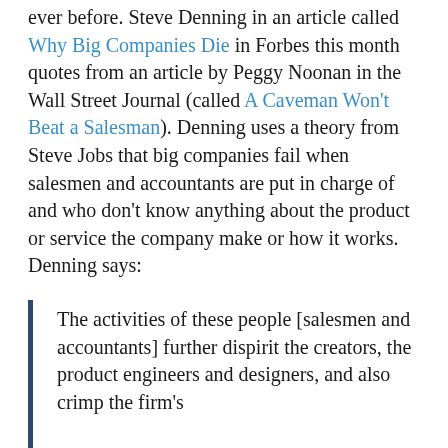ever before. Steve Denning in an article called Why Big Companies Die in Forbes this month quotes from an article by Peggy Noonan in the Wall Street Journal (called A Caveman Won't Beat a Salesman). Denning uses a theory from Steve Jobs that big companies fail when salesmen and accountants are put in charge of and who don't know anything about the product or service the company make or how it works. Denning says:
The activities of these people [salesmen and accountants] further dispirit the creators, the product engineers and designers, and also crimp the firm's